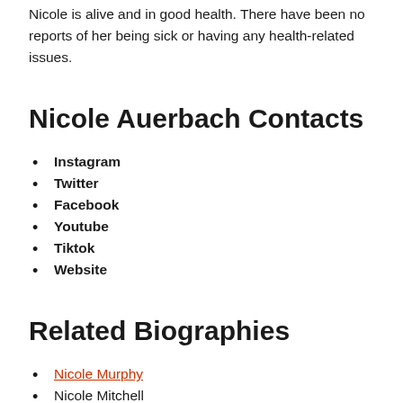Nicole is alive and in good health. There have been no reports of her being sick or having any health-related issues.
Nicole Auerbach Contacts
Instagram
Twitter
Facebook
Youtube
Tiktok
Website
Related Biographies
Nicole Murphy
Nicole Mitchell